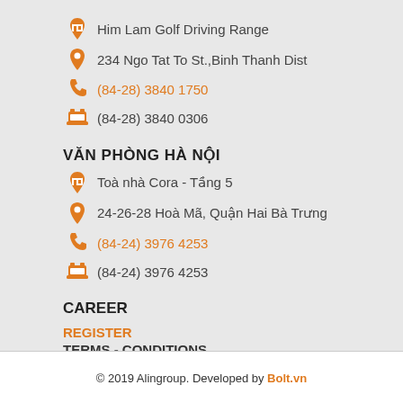Him Lam Golf Driving Range
234 Ngo Tat To St.,Binh Thanh Dist
(84-28) 3840 1750
(84-28) 3840 0306
VĂN PHÒNG HÀ NỘI
Toà nhà Cora - Tầng 5
24-26-28 Hoà Mã, Quận Hai Bà Trưng
(84-24) 3976 4253
(84-24) 3976 4253
CAREER
REGISTER
TERMS - CONDITIONS
© 2019 Alingroup. Developed by Bolt.vn